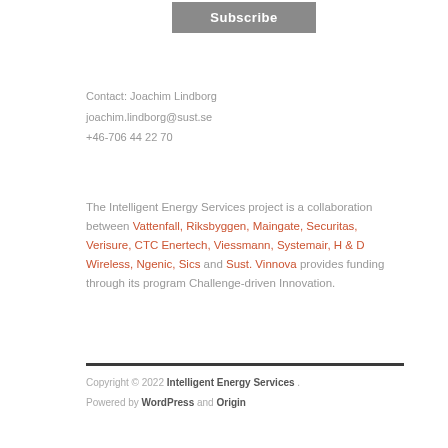Subscribe
Contact: Joachim Lindborg
joachim.lindborg@sust.se
+46-706 44 22 70
The Intelligent Energy Services project is a collaboration between Vattenfall, Riksbyggen, Maingate, Securitas, Verisure, CTC Enertech, Viessmann, Systemair, H & D Wireless, Ngenic, Sics and Sust. Vinnova provides funding through its program Challenge-driven Innovation.
Copyright © 2022 Intelligent Energy Services .
Powered by WordPress and Origin